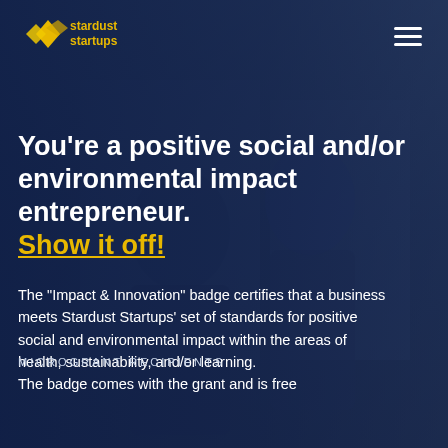[Figure (logo): Stardust Startups logo — yellow diamond shapes with text 'stardust startups' in yellow]
You’re a positive social and/or environmental impact entrepreneur. Show it off!
The “Impact & Innovation” badge certifies that a business meets Stardust Startups’ set of standards for positive social and environmental impact within the areas of health, sustainability, and/or learning.
MICROGRANT RECIPIENTS
The badge comes with the grant and is free